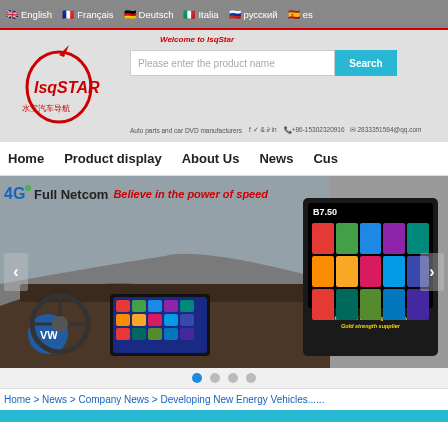English | Français | Deutsch | Italia | русский | es
[Figure (screenshot): IsqSTAR logo with Chinese characters and red arrow design]
Please enter the product name  Search
Auto parts and car DVD manufacturers  Social media icons  +86-15302320916  2833351584@qq.com
Home  Product display  About Us  News  Cus
[Figure (photo): 4G Full Netcom banner with car interior showing Android head unit and separate device panel with app grid. Text: Believe in the power of speed. Professional car navigation device Gold strength supplier]
Home > News > Company News > Developing New Energy Vehicles......